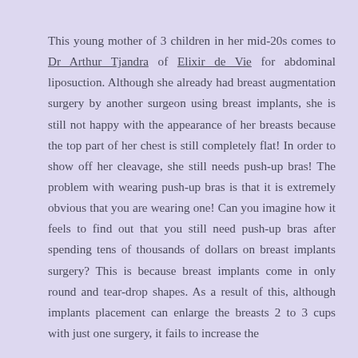This young mother of 3 children in her mid-20s comes to Dr Arthur Tjandra of Elixir de Vie for abdominal liposuction. Although she already had breast augmentation surgery by another surgeon using breast implants, she is still not happy with the appearance of her breasts because the top part of her chest is still completely flat! In order to show off her cleavage, she still needs push-up bras! The problem with wearing push-up bras is that it is extremely obvious that you are wearing one! Can you imagine how it feels to find out that you still need push-up bras after spending tens of thousands of dollars on breast implants surgery? This is because breast implants come in only round and tear-drop shapes. As a result of this, although implants placement can enlarge the breasts 2 to 3 cups with just one surgery, it fails to increase the